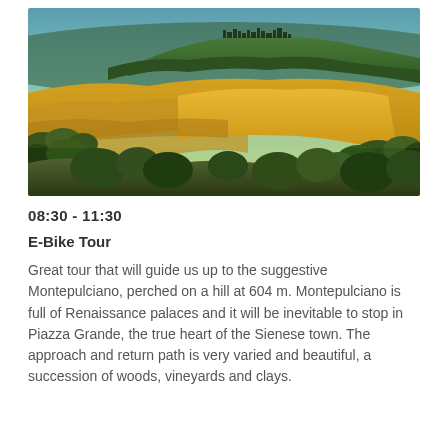[Figure (photo): Landscape photo of Tuscan rolling hills with golden fields, scattered trees, and a hilltop village (Montepulciano) silhouetted against a blue-green sky.]
08:30 - 11:30
E-Bike Tour
Great tour that will guide us up to the suggestive Montepulciano, perched on a hill at 604 m. Montepulciano is full of Renaissance palaces and it will be inevitable to stop in Piazza Grande, the true heart of the Sienese town. The approach and return path is very varied and beautiful, a succession of woods, vineyards and clays.